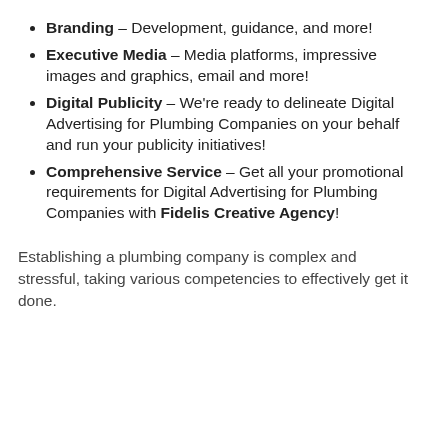Branding – Development, guidance, and more!
Executive Media – Media platforms, impressive images and graphics, email and more!
Digital Publicity – We're ready to delineate Digital Advertising for Plumbing Companies on your behalf and run your publicity initiatives!
Comprehensive Service – Get all your promotional requirements for Digital Advertising for Plumbing Companies with Fidelis Creative Agency!
Establishing a plumbing company is complex and stressful, taking various competencies to effectively get it done.